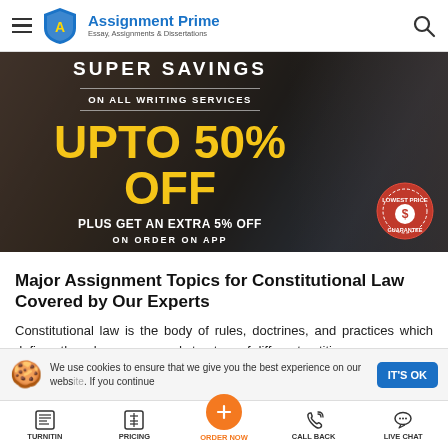Assignment Prime — Essay, Assignments & Dissertations
[Figure (screenshot): Promotional banner with dark background showing students studying, text: SUPER SAVINGS / ON ALL WRITING SERVICES / UPTO 50% OFF / PLUS GET AN EXTRA 5% OFF / ON ORDER ON APP, with a price guarantee badge on the right]
Major Assignment Topics for Constitutional Law Covered by Our Experts
Constitutional law is the body of rules, doctrines, and practices which defines the role, powers, and structure of different entities
We use cookies to ensure that we give you the best experience on our website. If you continue
TURNITIN | PRICING | ORDER NOW | CALL BACK | LIVE CHAT